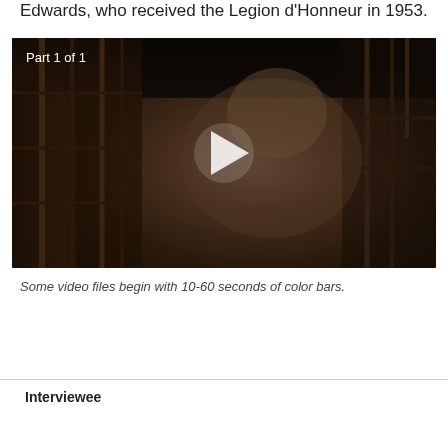Edwards, who received the Legion d'Honneur in 1953.
[Figure (screenshot): Video player showing an elderly man seated in front of a wooden bookcase. A white play button triangle is overlaid in the center. The label 'Part 1 of 1' appears in the top-left corner.]
Some video files begin with 10-60 seconds of color bars.
Interviewee